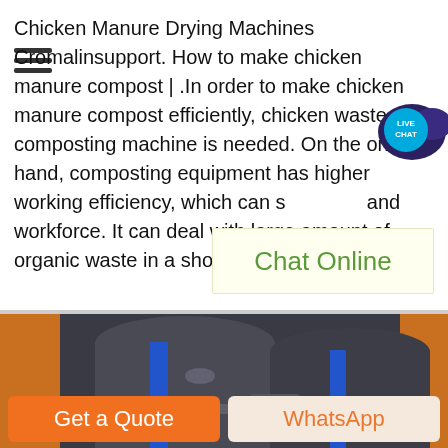Chicken Manure Drying Machines Cromalinsupport. How to make chicken manure compost | .In order to make chicken manure compost efficiently, chicken waste composting machine is needed. On the one hand, composting equipment has higher working efficiency, which can save time and workforce. It can deal with large amount of organic waste in a short time.
[Figure (other): Live chat speech bubble icon with text LIVE CHAT]
[Figure (other): Chat Online button with light yellow background]
[Figure (photo): Industrial drying machine equipment, dark grey cylindrical drums with blue straps, orange background]
[Figure (other): Get a Quote orange button and WhatsApp light peach button at the bottom of the page]